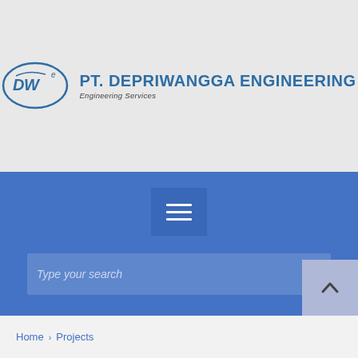[Figure (logo): PT. Depriwangga Engineering logo with oval DW emblem and company name]
[Figure (screenshot): Navigation bar with hamburger menu button on blue background]
[Figure (screenshot): Search bar with placeholder text 'Type your search' and search icon]
[Figure (screenshot): Scroll-to-top button with upward arrow on light blue/lavender background]
Home > Projects